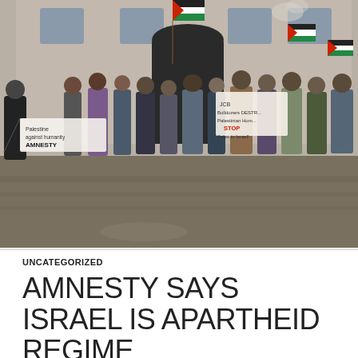[Figure (photo): Outdoor protest scene in front of a stone building. A crowd of protesters hold Palestinian flags (green, white, red, black) and signs including 'Palestine against humanity AMNESTY', 'JCB Bulldozers DESTROY Palestinian Homes STOP Sales to Israel', and other placards. The ground is wet cobblestone, suggesting rainy weather. People are dressed in winter clothing.]
UNCATEGORIZED
AMNESTY SAYS ISRAEL IS APARTHEID REGIME